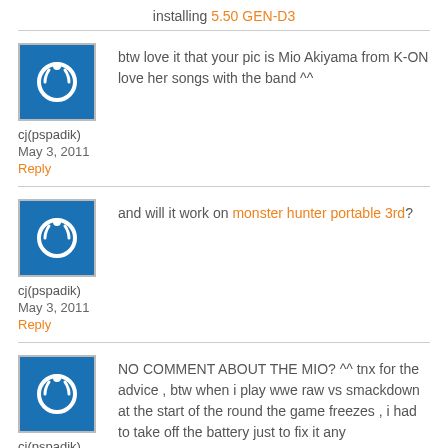installing 5.50 GEN-D3
btw love it that your pic is Mio Akiyama from K-ON love her songs with the band ^^
cj(pspadik)
May 3, 2011
Reply
and will it work on monster hunter portable 3rd?
cj(pspadik)
May 3, 2011
Reply
NO COMMENT ABOUT THE MIO? ^^ tnx for the advice , btw when i play wwe raw vs smackdown at the start of the round the game freezes , i had to take off the battery just to fix it any
cj(pspadik)
May 3, 2011
Reply